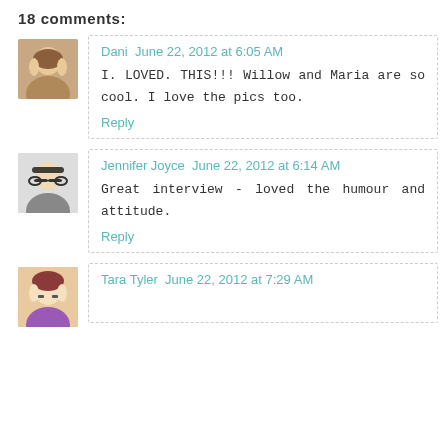18 comments:
Dani June 22, 2012 at 6:05 AM
I. LOVED. THIS!!! Willow and Maria are so cool. I love the pics too.
Reply
Jennifer Joyce June 22, 2012 at 6:14 AM
Great interview - loved the humour and attitude.
Reply
Tara Tyler June 22, 2012 at 7:29 AM